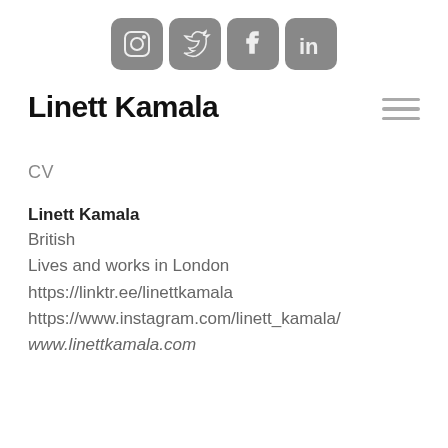[Figure (illustration): Four social media icons in rounded square buttons: Instagram, Twitter, Facebook, LinkedIn — rendered in grayscale/dark gray]
Linett Kamala
CV
Linett Kamala
British
Lives and works in London
https://linktr.ee/linettkamala
https://www.instagram.com/linett_kamala/
www.linettkamala.com